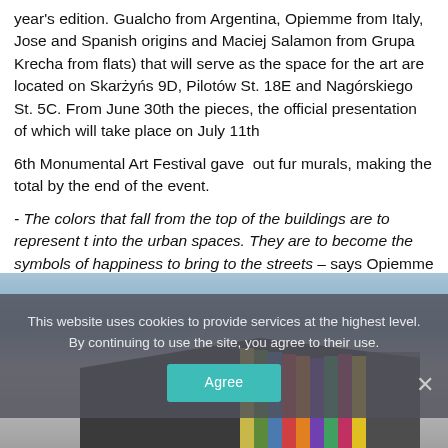year's edition. Gualcho from Argentina, Opiemme from Italy, Jose and Spanish origins and Maciej Salamon from Grupa Krecha from flats) that will serve as the space for the art are located on Skarżyńs 9D, Pilotów St. 18E and Nagórskiego St. 5C. From June 30th the pieces, the official presentation of which will take place on July 11th
6th Monumental Art Festival gave out fur murals, making the total by the end of the event.
- The colors that fall from the top of the buildings are to represent t into the urban spaces. They are to become the symbols of happiness to bring to the streets – says Opiemme about his mural created at also a poet, so his works are full of poetics aimed at the art's access so as to be open for the public interpretation.
[Figure (photo): Photograph of a building with colorful vertical stripe mural painted on it, against a blue sky background, with a cookie consent overlay.]
This website uses cookies to provide services at the highest level. By continuing to use the site, you agree to their use.